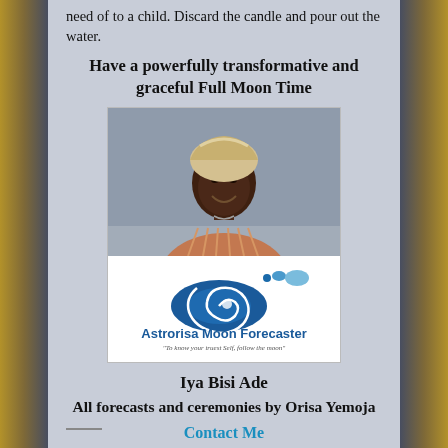need of to a child. Discard the candle and pour out the water.
Have a powerfully transformative and graceful Full Moon Time
[Figure (photo): Photo of Iya Bisi Ade wearing a head wrap and traditional clothing, smiling, with Astrorisa Moon Forecaster logo below reading 'To know your truest Self, follow the moon']
Iya Bisi Ade
All forecasts and ceremonies by Orisa Yemoja
Contact Me